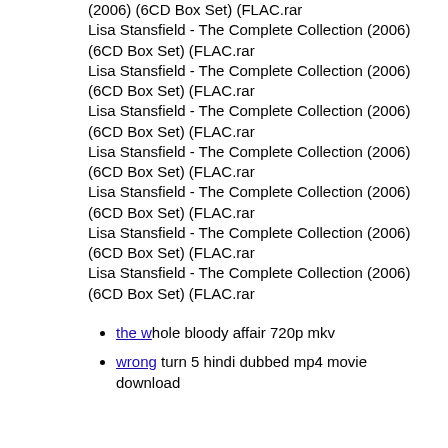(2006) (6CD Box Set) (FLAC.rar
Lisa Stansfield - The Complete Collection (2006) (6CD Box Set) (FLAC.rar
Lisa Stansfield - The Complete Collection (2006) (6CD Box Set) (FLAC.rar
Lisa Stansfield - The Complete Collection (2006) (6CD Box Set) (FLAC.rar
Lisa Stansfield - The Complete Collection (2006) (6CD Box Set) (FLAC.rar
Lisa Stansfield - The Complete Collection (2006) (6CD Box Set) (FLAC.rar
Lisa Stansfield - The Complete Collection (2006) (6CD Box Set) (FLAC.rar
Lisa Stansfield - The Complete Collection (2006) (6CD Box Set) (FLAC.rar
the whole bloody affair 720p mkv
wrong turn 5 hindi dubbed mp4 movie download